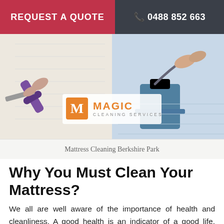REQUEST A QUOTE   📞 0488 852 663
[Figure (photo): Two mattress cleaning scenes: left shows a purple vacuum tool cleaning a white mattress, right shows a steam cleaning machine on a blue mattress. Magic Cleaning Services logo overlaid in center.]
Mattress Cleaning Berkshire Park
Why You Must Clean Your Mattress?
We all are well aware of the importance of health and cleanliness. A good health is an indicator of a good life. However, it is cleanliness which helps us maintain our health. Magic Cleaning Services with its expert services can help you achieve this cleanliness at your